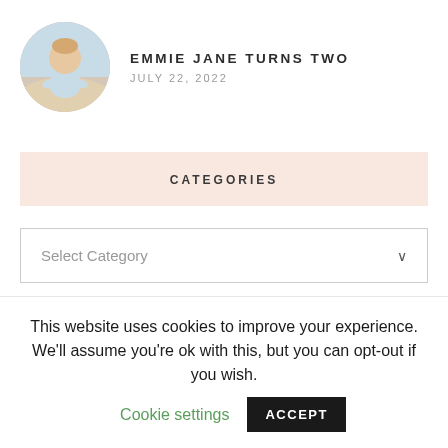[Figure (photo): Circular avatar photo of a toddler (Emmie Jane) on a beach wearing a light blue outfit]
EMMIE JANE TURNS TWO
JULY 22, 2022
CATEGORIES
Select Category
This website uses cookies to improve your experience. We'll assume you're ok with this, but you can opt-out if you wish. Cookie settings ACCEPT